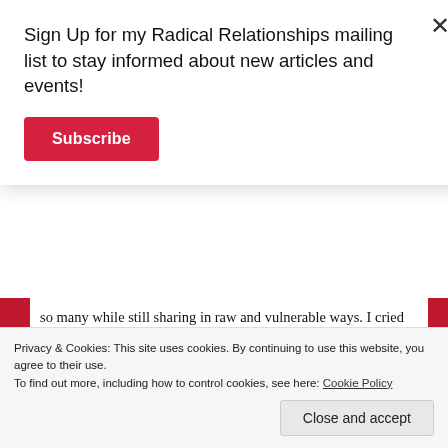Sign Up for my Radical Relationships mailing list to stay informed about new articles and events!
Subscribe
so many while still sharing in raw and vulnerable ways. I cried again, in front of everyone. I’m still working on breathing into how deeply healing those words were.
[Figure (photo): Close-up photo of a bowl of creamy food, possibly hummus or a similar pale beige spread in a blue bowl.]
I won’t ever be able to talk
Privacy & Cookies: This site uses cookies. By continuing to use this website, you agree to their use.
To find out more, including how to control cookies, see here: Cookie Policy
Close and accept